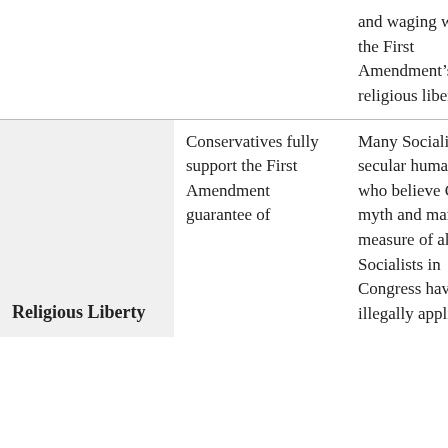|  |  |  |
| --- | --- | --- |
|  |  | and waging war on the First Amendment’s religious liberty. |
| Religious Liberty | Conservatives fully support the First Amendment guarantee of | Many Socialists are secular humanists who believe God is a myth and man is the measure of all things. Socialists in Congress have illegally applied |